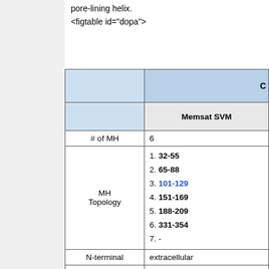pore-lining helix.
<figtable id="dopa">
|  | C... / Memsat SVM |
| --- | --- |
| # of MH | 6 |
| MH Topology | 1. 32-55
2. 65-88
3. 101-129
4. 151-169
5. 188-209
6. 331-354
7. - |
| N-terminal | extracellular |
| C-terminal | extracellular |
| Signal peptide | 1-29 |